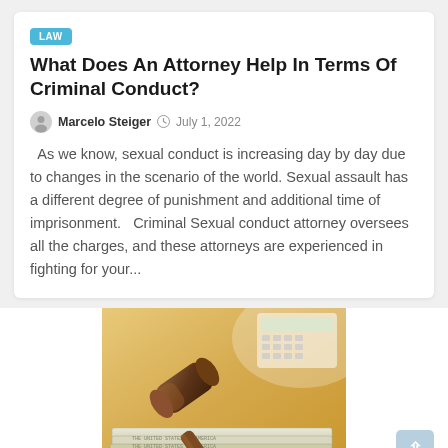LAW
What Does An Attorney Help In Terms Of Criminal Conduct?
Marcelo Steiger   July 1, 2022
As we know, sexual conduct is increasing day by day due to changes in the scenario of the world. Sexual assault has a different degree of punishment and additional time of imprisonment.   Criminal Sexual conduct attorney oversees all the charges, and these attorneys are experienced in fighting for your...
[Figure (photo): A wooden judge's gavel resting on US dollar bills with a calculator in the background, warm golden lighting]